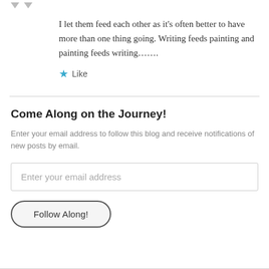I let them feed each other as it's often better to have more than one thing going. Writing feeds painting and painting feeds writing…….
★ Like
Come Along on the Journey!
Enter your email address to follow this blog and receive notifications of new posts by email.
Enter your email address
Follow Along!